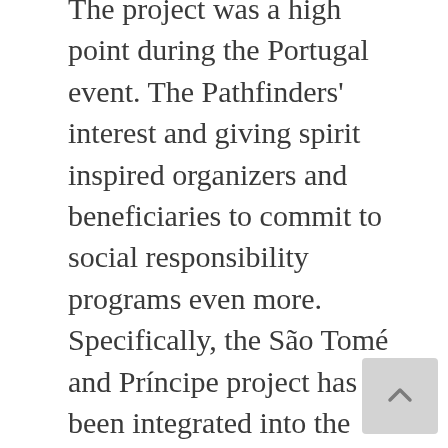The project was a high point during the Portugal event. The Pathfinders' interest and giving spirit inspired organizers and beneficiaries to commit to social responsibility programs even more. Specifically, the São Tomé and Príncipe project has been integrated into the ADRA Global Advocacy Campaign Every Child. Everywhere. In School, where signatures are being collected to influence world leaders so they can help to provide all children with access to education. During the camporee, hundreds of teens at least 14 years old signed up as advocates of this campaign.